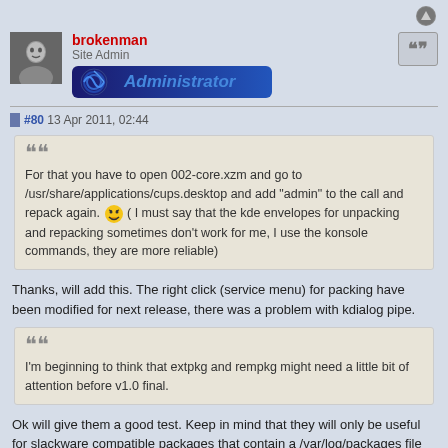[Figure (photo): User avatar photo of brokenman, grayscale portrait]
brokenman
Site Admin
Administrator
#80 13 Apr 2011, 02:44
For that you have to open 002-core.xzm and go to /usr/share/applications/cups.desktop and add "admin" to the call and repack again. 😄 ( I must say that the kde envelopes for unpacking and repacking sometimes don't work for me, I use the konsole commands, they are more reliable)
Thanks, will add this. The right click (service menu) for packing have been modified for next release, there was a problem with kdialog pipe.
I'm beginning to think that extpkg and rempkg might need a little bit of attention before v1.0 final.
Ok will give them a good test. Keep in mind that they will only be useful for slackware compatible packages that contain a /var/log/packages file